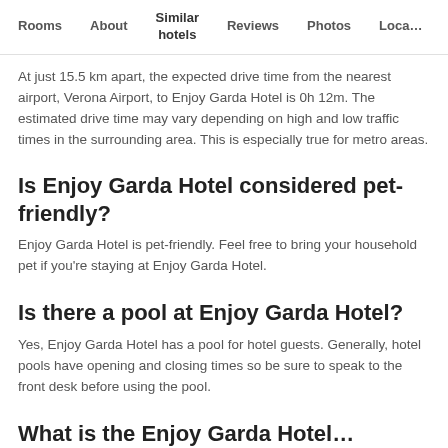Rooms   About   Similar hotels   Reviews   Photos   Loca…
At just 15.5 km apart, the expected drive time from the nearest airport, Verona Airport, to Enjoy Garda Hotel is 0h 12m. The estimated drive time may vary depending on high and low traffic times in the surrounding area. This is especially true for metro areas.
Is Enjoy Garda Hotel considered pet-friendly?
Enjoy Garda Hotel is pet-friendly. Feel free to bring your household pet if you're staying at Enjoy Garda Hotel.
Is there a pool at Enjoy Garda Hotel?
Yes, Enjoy Garda Hotel has a pool for hotel guests. Generally, hotel pools have opening and closing times so be sure to speak to the front desk before using the pool.
What is the Enjoy Garda Hotel…